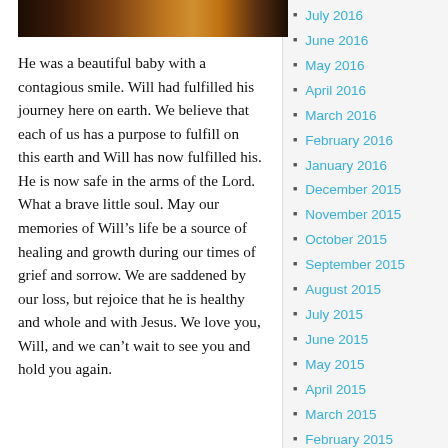[Figure (photo): Partial photo showing dark/warm tones, appears to be a baby photo cropped at top]
He was a beautiful baby with a contagious smile. Will had fulfilled his journey here on earth. We believe that each of us has a purpose to fulfill on this earth and Will has now fulfilled his. He is now safe in the arms of the Lord. What a brave little soul. May our memories of Will’s life be a source of healing and growth during our times of grief and sorrow. We are saddened by our loss, but rejoice that he is healthy and whole and with Jesus. We love you, Will, and we can’t wait to see you and hold you again.
July 2016
June 2016
May 2016
April 2016
March 2016
February 2016
January 2016
December 2015
November 2015
October 2015
September 2015
August 2015
July 2015
June 2015
May 2015
April 2015
March 2015
February 2015
January 2015